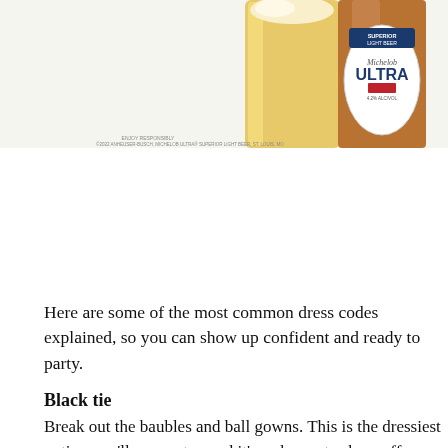[Figure (photo): Photo of a Michelob Ultra beer bottle and a glass of beer. The bottle label reads 'Superior Light Beer, Michelob ULTRA, 4.2% ALC/VOL'. Small text at bottom reads 'ENJOY RESPONSIBLY' and brand info.]
Here are some of the most common dress codes explained, so you can show up confident and ready to party.
Black tie
Break out the baubles and ball gowns. This is the dressiest option you'll encounter, and it's a chance to show off your style at its most glamorous. Floor-length gowns, sparkly cocktail dresses with bigger jewelry, and dressy pants suits with heels are all acceptable. A perfectly fitted black gown does a woman wonders, especially if it's crafted with sheer embroidering.